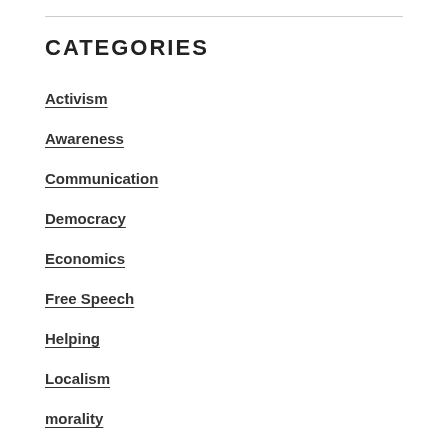CATEGORIES
Activism
Awareness
Communication
Democracy
Economics
Free Speech
Helping
Localism
morality
Mutualism
News
Nourish